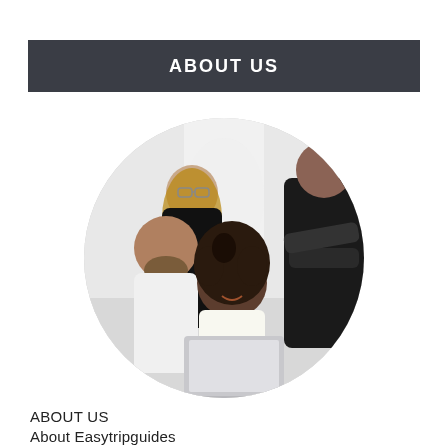ABOUT US
[Figure (photo): Circular cropped photo of a team of people gathered around a laptop. A woman with curly hair is smiling at the laptop screen, while two others (a man and a woman with glasses) lean in from behind. A fourth person in a dark shirt stands to the right with arms crossed.]
ABOUT US
About Easytripguides